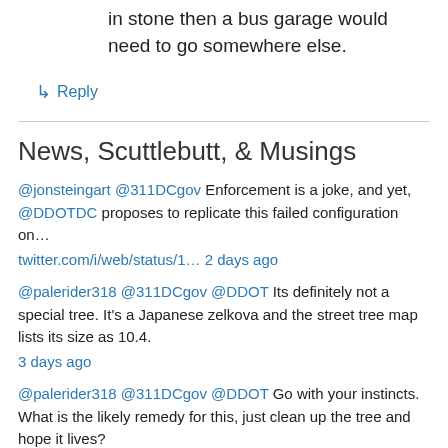in stone then a bus garage would need to go somewhere else.
↳ Reply
News, Scuttlebutt, & Musings
@jonsteingart @311DCgov Enforcement is a joke, and yet, @DDOTDC proposes to replicate this failed configuration on… twitter.com/i/web/status/1… 2 days ago
@palerider318 @311DCgov @DDOT Its definitely not a special tree. It's a Japanese zelkova and the street tree map lists its size as 10.4. 3 days ago
@palerider318 @311DCgov @DDOT Go with your instincts. What is the likely remedy for this, just clean up the tree and hope it lives? 3 days ago